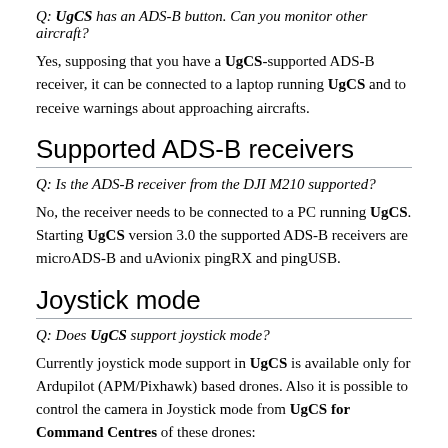Q: UgCS has an ADS-B button. Can you monitor other aircraft?
Yes, supposing that you have a UgCS-supported ADS-B receiver, it can be connected to a laptop running UgCS and to receive warnings about approaching aircrafts.
Supported ADS-B receivers
Q: Is the ADS-B receiver from the DJI M210 supported?
No, the receiver needs to be connected to a PC running UgCS. Starting UgCS version 3.0 the supported ADS-B receivers are microADS-B and uAvionix pingRX and pingUSB.
Joystick mode
Q: Does UgCS support joystick mode?
Currently joystick mode support in UgCS is available only for Ardupilot (APM/Pixhawk) based drones. Also it is possible to control the camera in Joystick mode from UgCS for Command Centres of these drones: